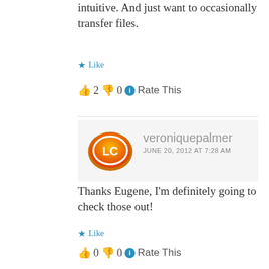intuitive. And just want to occasionally transfer files.
★ Like
👍 2 👎 0 ℹ Rate This
[Figure (logo): Orange and yellow oval logo with white 'LC' text inside]
veroniquepalmer
JUNE 20, 2012 AT 7:28 AM
Thanks Eugene, I'm definitely going to check those out!
★ Like
👍 0 👎 0 ℹ Rate This